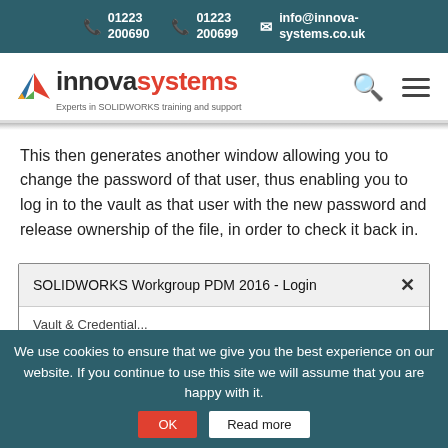01223 200690  01223 200699  info@innova-systems.co.uk
[Figure (logo): Innova Systems logo with triangle icon and tagline 'Experts in SOLIDWORKS training and support']
This then generates another window allowing you to change the password of that user, thus enabling you to log in to the vault as that user with the new password and release ownership of the file, in order to check it back in.
[Figure (screenshot): SOLIDWORKS Workgroup PDM 2016 - Login dialog box with title bar showing close button (X)]
We use cookies to ensure that we give you the best experience on our website. If you continue to use this site we will assume that you are happy with it.